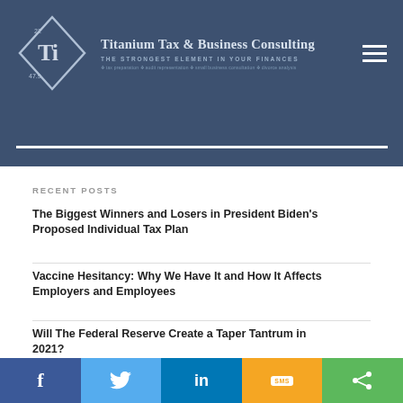[Figure (logo): Titanium Tax & Business Consulting logo — diamond shape with Ti symbol, company name and tagline]
RECENT POSTS
The Biggest Winners and Losers in President Biden’s Proposed Individual Tax Plan
Vaccine Hesitancy: Why We Have It and How It Affects Employers and Employees
Will The Federal Reserve Create a Taper Tantrum in 2021?
f  Twitter  in  SMS  Share